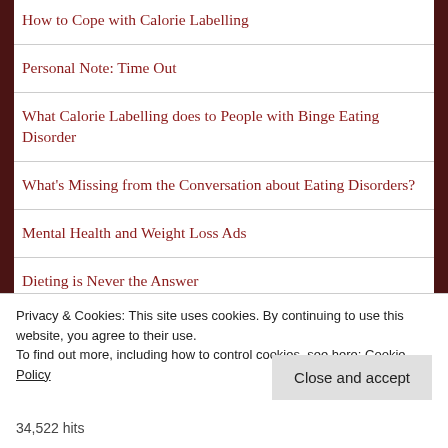How to Cope with Calorie Labelling
Personal Note: Time Out
What Calorie Labelling does to People with Binge Eating Disorder
What's Missing from the Conversation about Eating Disorders?
Mental Health and Weight Loss Ads
Dieting is Never the Answer
Privacy & Cookies: This site uses cookies. By continuing to use this website, you agree to their use. To find out more, including how to control cookies, see here: Cookie Policy
Close and accept
34,522 hits